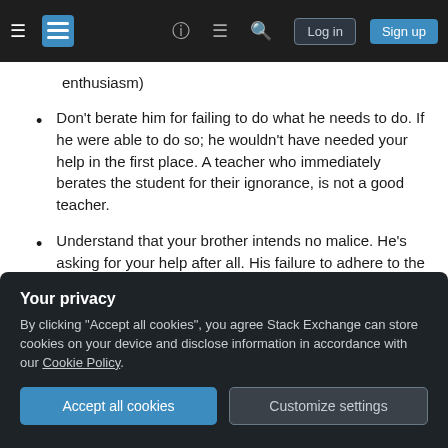Stack Exchange navigation bar with hamburger menu, logo, help, chat, search, log in, sign up
enthusiasm)
Don't berate him for failing to do what he needs to do. If he were able to do so; he wouldn't have needed your help in the first place. A teacher who immediately berates the student for their ignorance, is not a good teacher.
Understand that your brother intends no malice. He's asking for your help after all. His failure to adhere to the schedule is not a matter of willful disobedience, it's a matter of misunderstanding
Your privacy
By clicking "Accept all cookies", you agree Stack Exchange can store cookies on your device and disclose information in accordance with our Cookie Policy.
Accept all cookies   Customize settings
brother feels like he's in a similar (but less